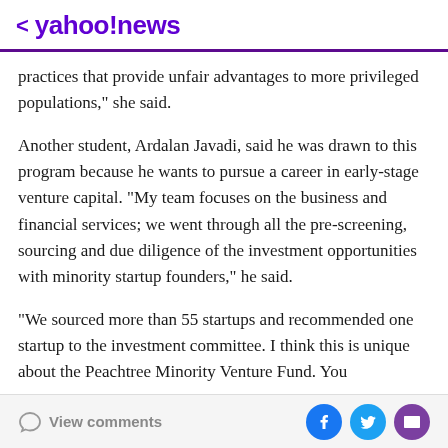< yahoo!news
practices that provide unfair advantages to more privileged populations," she said.
Another student, Ardalan Javadi, said he was drawn to this program because he wants to pursue a career in early-stage venture capital. “My team focuses on the business and financial services; we went through all the pre-screening, sourcing and due diligence of the investment opportunities with minority startup founders,” he said.
“We sourced more than 55 startups and recommended one startup to the investment committee. I think this is unique about the Peachtree Minority Venture Fund. You
View comments